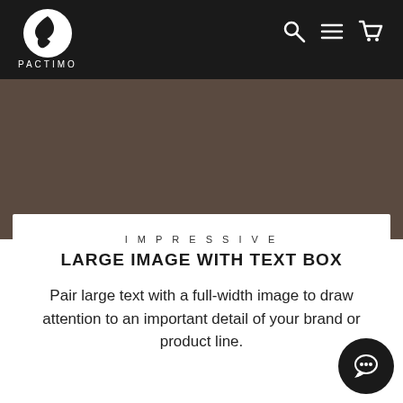PACTIMO
[Figure (photo): Large brown/taupe full-width image area, appears to be a placeholder or product image with dark brownish tone]
IMPRESSIVE
LARGE IMAGE WITH TEXT BOX
Pair large text with a full-width image to draw attention to an important detail of your brand or product line.